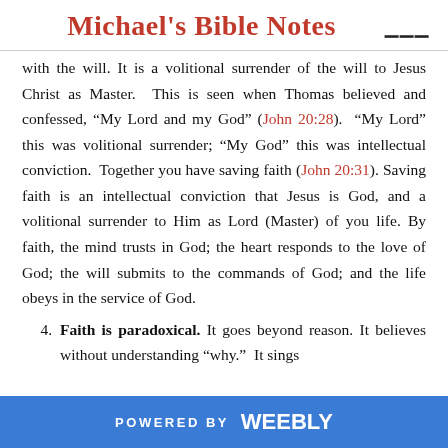Michael's Bible Notes
with the will. It is a volitional surrender of the will to Jesus Christ as Master. This is seen when Thomas believed and confessed, “My Lord and my God” (John 20:28). “My Lord” this was volitional surrender; “My God” this was intellectual conviction. Together you have saving faith (John 20:31). Saving faith is an intellectual conviction that Jesus is God, and a volitional surrender to Him as Lord (Master) of you life. By faith, the mind trusts in God; the heart responds to the love of God; the will submits to the commands of God; and the life obeys in the service of God.
4. Faith is paradoxical. It goes beyond reason. It believes without understanding “why.” It sings
POWERED BY weebly